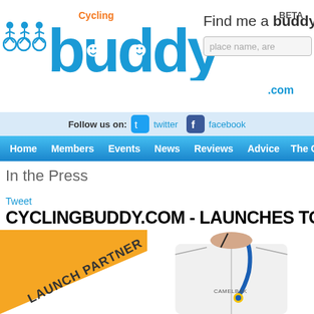[Figure (screenshot): CyclingBuddy.com website header with logo, cyclists icon, BETA label, Find me a buddy search, social media links (twitter, facebook), navigation bar (Home, Members, Events, News, Reviews, Advice, The Challen...)]
In the Press
Tweet
CYCLINGBUDDY.COM - LAUNCHES TO
[Figure (photo): Left: yellow diagonal banner saying LAUNCH PARTNER. Right: person wearing white cycling jersey with CamelBak hydration tube across chest.]